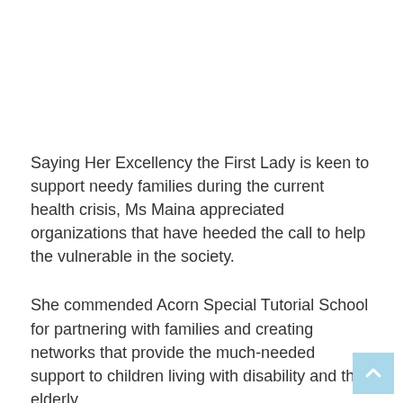Saying Her Excellency the First Lady is keen to support needy families during the current health crisis, Ms Maina appreciated organizations that have heeded the call to help the vulnerable in the society.
She commended Acorn Special Tutorial School for partnering with families and creating networks that provide the much-needed support to children living with disability and the elderly.